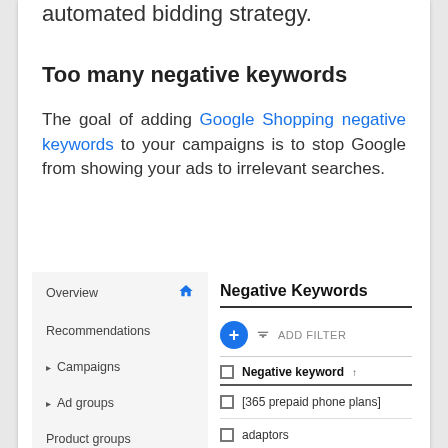automated bidding strategy.
Too many negative keywords
The goal of adding Google Shopping negative keywords to your campaigns is to stop Google from showing your ads to irrelevant searches.
[Figure (screenshot): Google Ads interface screenshot showing the Negative Keywords panel with a left navigation sidebar (Overview, Recommendations, Campaigns, Ad groups, Product groups, Ads) and the main Negative Keywords list with a plus button, filter icon, ADD FILTER text, a column header 'Negative keyword', and two keyword rows: '[365 prepaid phone plans]' and 'adaptors'.]